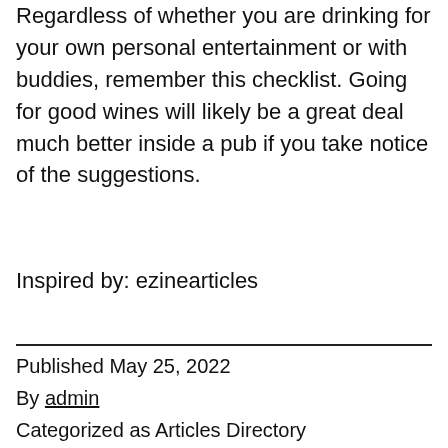Regardless of whether you are drinking for your own personal entertainment or with buddies, remember this checklist. Going for good wines will likely be a great deal much better inside a pub if you take notice of the suggestions.
Inspired by: ezinearticles
Published May 25, 2022
By admin
Categorized as Articles Directory